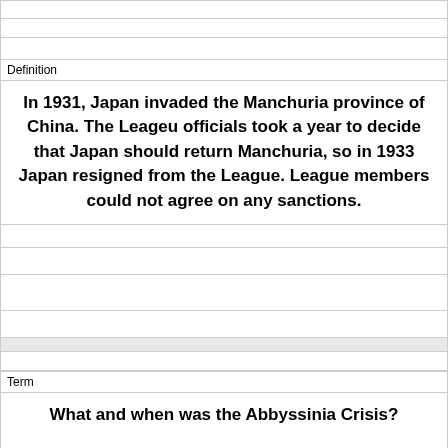Definition
In 1931, Japan invaded the Manchuria province of China. The Leageu officials took a year to decide that Japan should return Manchuria, so in 1933 Japan resigned from the League. League members could not agree on any sanctions.
Term
What and when was the Abbyssinia Crisis?